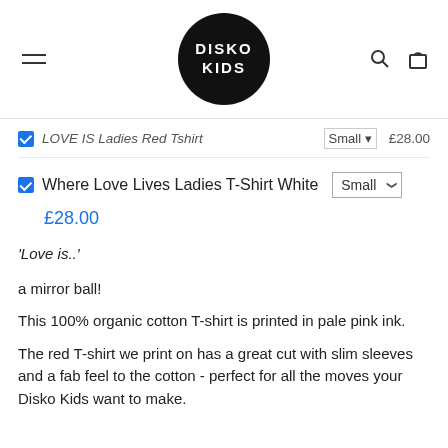[Figure (logo): Disko Kids logo — black circle with white text 'DISKO KIDS']
LOVE IS Ladies Red Tshirt  Small  £28.00
Where Love Lives Ladies T-Shirt White  Small  £28.00
'Love is..'
a mirror ball!
This 100% organic cotton T-shirt is printed in pale pink ink.
The red T-shirt we print on has a great cut with slim sleeves and a fab feel to the cotton - perfect for all the moves your Disko Kids want to make.